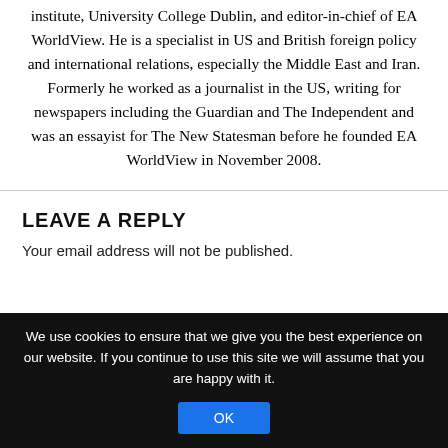institute, University College Dublin, and editor-in-chief of EA WorldView. He is a specialist in US and British foreign policy and international relations, especially the Middle East and Iran. Formerly he worked as a journalist in the US, writing for newspapers including the Guardian and The Independent and was an essayist for The New Statesman before he founded EA WorldView in November 2008.
LEAVE A REPLY
Your email address will not be published.
We use cookies to ensure that we give you the best experience on our website. If you continue to use this site we will assume that you are happy with it.